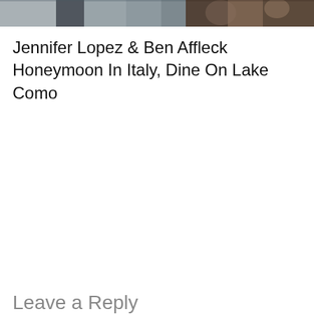[Figure (photo): Two cropped photos side by side at top: left shows people in a light outdoor setting, right shows a close-up dark-toned image likely of faces or objects]
Jennifer Lopez & Ben Affleck Honeymoon In Italy, Dine On Lake Como
Leave a Reply